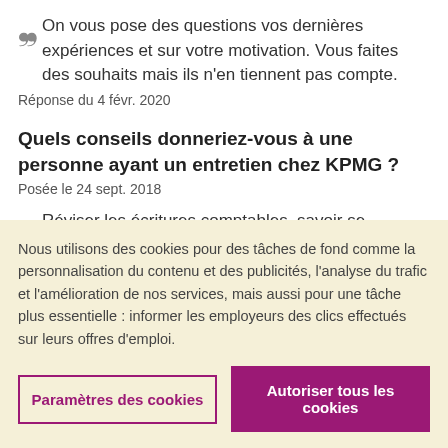On vous pose des questions vos dernières expériences et sur votre motivation. Vous faites des souhaits mais ils n'en tiennent pas compte.
Réponse du 4 févr. 2020
Quels conseils donneriez-vous à une personne ayant un entretien chez KPMG ?
Posée le 24 sept. 2018
Réviser les écritures comptables, savoir se présenter
Réponse du 9 juil. 2021
Nous utilisons des cookies pour des tâches de fond comme la personnalisation du contenu et des publicités, l'analyse du trafic et l'amélioration de nos services, mais aussi pour une tâche plus essentielle : informer les employeurs des clics effectués sur leurs offres d'emploi.
Paramètres des cookies
Autoriser tous les cookies